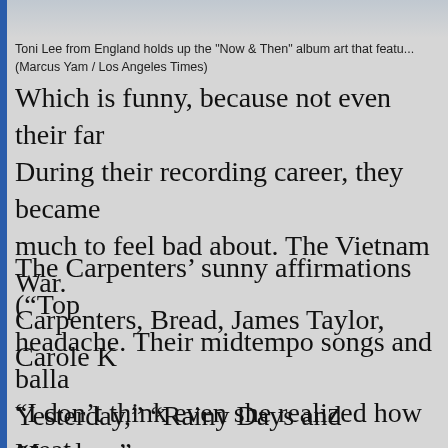[Figure (photo): Partial image of Toni Lee from England holding up the 'Now & Then' album art, cropped at top of page]
Toni Lee from England holds up the "Now & Then" album art that featu... (Marcus Yam / Los Angeles Times)
Which is funny, because not even their far... During their recording career, they became... much to feel bad about. The Vietnam War... Carpenters, Bread, James Taylor, Carole K...
The Carpenters' sunny affirmations (“Top... headache. Their midtempo songs and balla... Yesterday,” “Rainy Days and Mondays” a... composition “Superstar” - were often trans... of all because of Karen’s contralto, which... seemed to be showing off - it just richly is...
“I don’t think even she realized how great... she brought her chose of Carpenters...